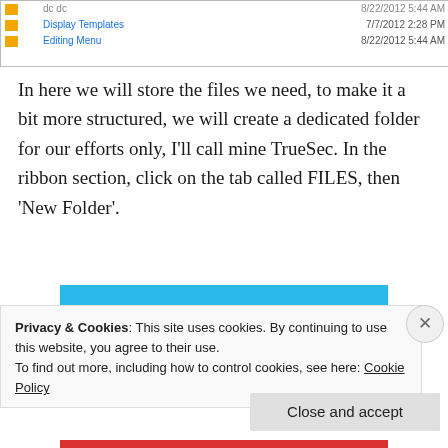[Figure (screenshot): Partial file browser showing folder list with Display Templates (7/7/2012 2:28 PM) and Editing Menu (8/22/2012 5:44 AM)]
In here we will store the files we need, to make it a bit more structured, we will create a dedicated folder for our efforts only, I'll call mine TrueSec. In the ribbon section, click on the tab called FILES, then 'New Folder'.
[Figure (illustration): Day One app advertisement banner — blue background with text 'DAY ONE' and 'The only journaling app you'll ever need.']
Privacy & Cookies: This site uses cookies. By continuing to use this website, you agree to their use.
To find out more, including how to control cookies, see here: Cookie Policy
Close and accept